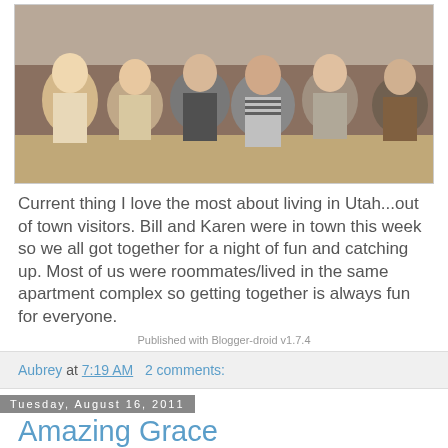[Figure (photo): Group photo of several women seated together indoors on a couch/floor]
Current thing I love the most about living in Utah...out of town visitors. Bill and Karen were in town this week so we all got together for a night of fun and catching up. Most of us were roommates/lived in the same apartment complex so getting together is always fun for everyone.
Published with Blogger-droid v1.7.4
Aubrey at 7:19 AM   2 comments:
Tuesday, August 16, 2011
Amazing Grace
how many of us pray each day for opportunities to serve others?!? here's your chance.